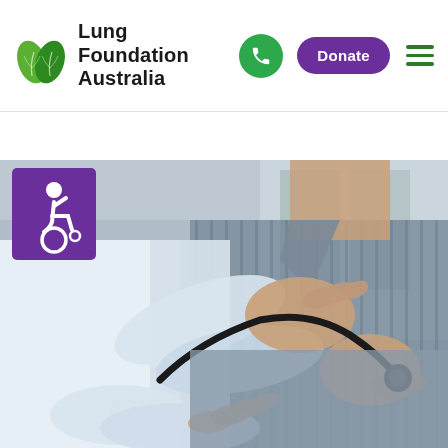[Figure (logo): Lung Foundation Australia logo with green leaf icon and text]
[Figure (photo): Doctor using a stethoscope to examine a patient's chest in a clinical setting, with an accessibility icon overlay in purple in the top-left corner]